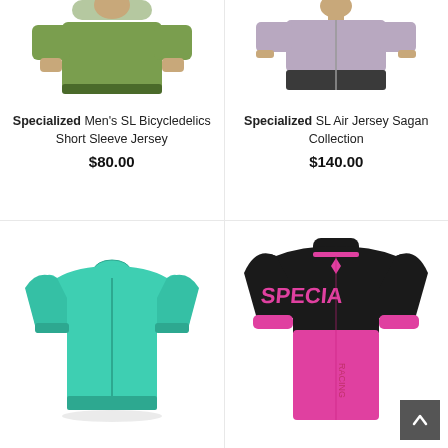[Figure (photo): Man wearing green Specialized Men's SL Bicycledelics Short Sleeve Jersey, cropped to torso]
Specialized
Men's SL Bicycledelics Short Sleeve Jersey
$80.00
[Figure (photo): Woman wearing grey/lavender Specialized SL Air Jersey Sagan Collection, cropped to torso]
Specialized
SL Air Jersey Sagan Collection
$140.00
[Figure (photo): Teal/turquoise Specialized cycling jersey laid flat]
[Figure (photo): Woman wearing pink and black Specialized racing jersey]
[Figure (other): Back-to-top scroll button, dark grey with white chevron arrow]